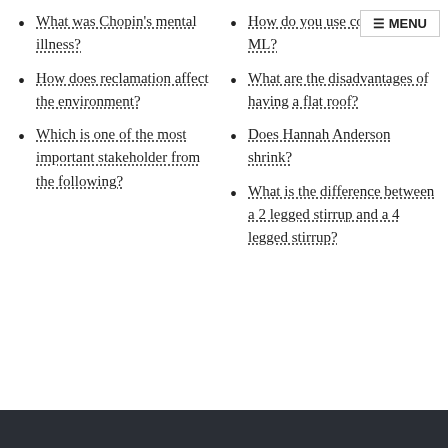What was Chopin's mental illness?
How does reclamation affect the environment?
Which is one of the most important stakeholder from the following?
How do you use color codes in ML?
What are the disadvantages of having a flat roof?
Does Hannah Anderson shrink?
What is the difference between a 2 legged stirrup and a 4 legged stirrup?